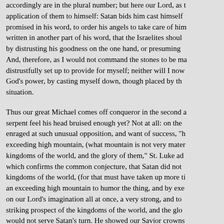accordingly are in the plural number; but here our Lord, as the application of them to himself: Satan bids him cast himself promised in his word, to order his angels to take care of him written in another part of his word, that the Israelites should by distrusting his goodness on the one hand, or presuming And, therefore, as I would not command the stones to be made distrustfully set up to provide for myself; neither will I now God's power, by casting myself down, though placed by the situation.
Thus our great Michael comes off conqueror in the second assault serpent feel his head bruised enough yet? Not at all: on the enraged at such unusual opposition, and want of success, "He exceeding high mountain, (what mountain is not very material) kingdoms of the world, and the glory of them," St. Luke adds which confirms the common conjecture, that Satan did not kingdoms of the world, (for that must have taken up more time) an exceeding high mountain to humor the thing, and by exciting on our Lord's imagination all at once, a very strong, and to striking prospect of the kingdoms of the world, and the glory would not serve Satan's turn. He showed our Savior crowns crowns were gilded [inlaid] with thorns; "He showed him, (as a commentator) as in a landscape, or airy representation in a deceiver could easily frame and put together, the glorious a princes, their robes and retinue, their equipage and lifeguard